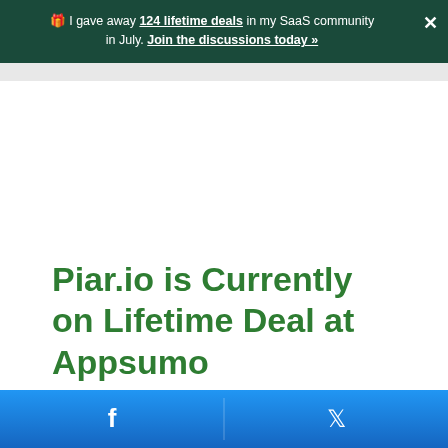🎁 I gave away 124 lifetime deals in my SaaS community ✕ in July. Join the discussions today »
Piar.io is Currently on Lifetime Deal at Appsumo
[Figure (screenshot): Social sharing bar at the bottom with Facebook and Twitter icons on a blue gradient background]